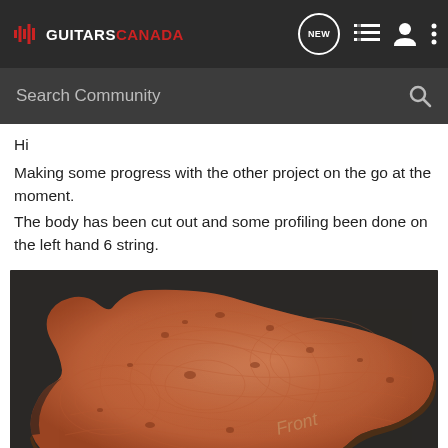GUITARS CANADA — navigation bar with NEW, list, user, and more icons
Search Community
Hi
Making some progress with the other project on the go at the moment.
The body has been cut out and some profiling been done on the left hand 6 string.
[Figure (photo): A guitar body blank, cut to shape (appears to be a 6-string electric guitar body), made of figured/burl wood with a reddish-orange hue, placed on a dark surface. The word 'Front' appears faintly written on the wood surface.]